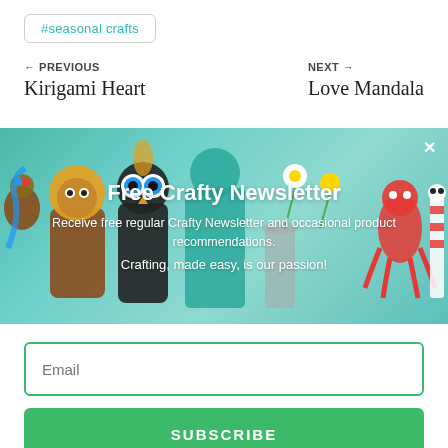#seasonal crafts
← PREVIOUS
Kirigami Heart
NEXT →
Love Mandala
[Figure (photo): Collage of colorful handmade craft characters on a white shelf with flowers in a glass jar in the background. Includes stuffed animals and figurines made from cardboard tubes and felt.]
Free Crafty Newsletter
Receive free regular Crafty Newsletter and occasional product recommendations.
Crafting, made easy, is our passion!
Email
SUBSCRIBE